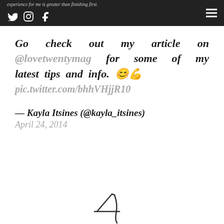experience for me is greater than finishing first.
Go check out my article on @lovetwentymag for some of my latest tips and info. 😊💪 pic.twitter.com/bhhVHjjR10
— Kayla Itsines (@kayla_itsines) April 24, 2014
[Figure (illustration): A handwritten signature at the bottom of the page]